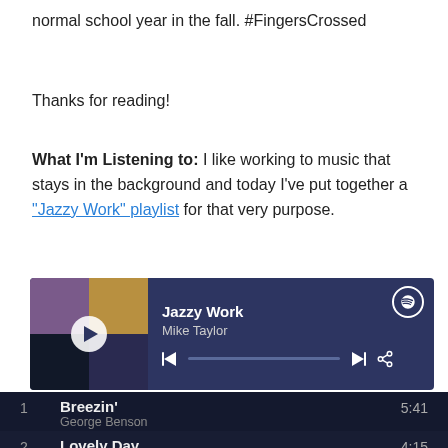normal school year in the fall. #FingersCrossed
Thanks for reading!
What I'm Listening to: I like working to music that stays in the background and today I've put together a "Jazzy Work" playlist for that very purpose.
[Figure (screenshot): Spotify playlist widget showing 'Jazzy Work' by Mike Taylor with album art grid, playback controls, and progress bar]
| # | Title / Artist | Duration |
| --- | --- | --- |
| 1 | Breezin' / George Benson | 5:41 |
| 2 | Lovely Day / Bill Withers | 4:15 |
| 3 | Easy / Commodores | 4:16 |
| 4 | What's Going On | 3:53 |